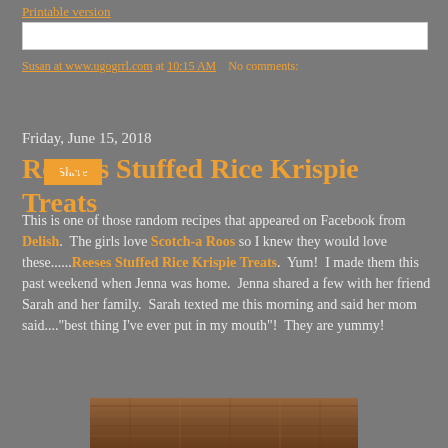Printable version
Susan at www.ugogrrl.com at 10:15 AM   No comments:
Share
Friday, June 15, 2018
Reese's Stuffed Rice Krispie Treats
This is one of those random recipes that appeared on Facebook from Delish.  The girls love Scotch-a Roos so I knew they would love these......Reeses Stuffed Rice Krispie Treats.  Yum!  I made them this past weekend when Jenna was home.  Jenna shared a few with her friend Sarah and her family.  Sarah texted me this morning and said her mom said...."best thing I've ever put in my mouth"!  They are yummy!
[Figure (photo): Close-up photo of Reese's Stuffed Rice Krispie Treats, brown textured surface visible at bottom of page]